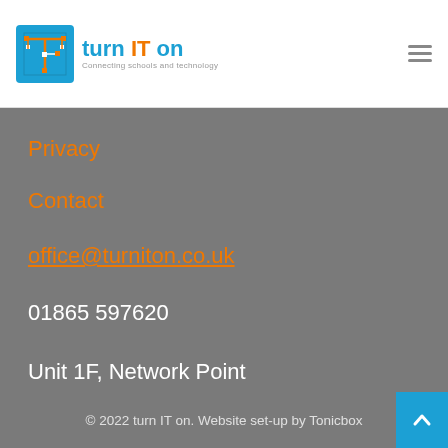[Figure (logo): turn IT on logo with circuit-board icon and tagline 'Connecting schools and technology']
Privacy
Contact
office@turniton.co.uk
01865 597620
Unit 1F, Network Point
Range Road, Witney
OX29 0YN
© 2022 turn IT on. Website set-up by Tonicbox